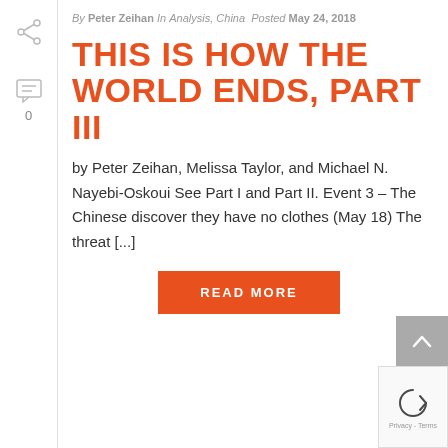By Peter Zeihan In Analysis, China Posted May 24, 2018
THIS IS HOW THE WORLD ENDS, PART III
by Peter Zeihan, Melissa Taylor, and Michael N. Nayebi-Oskoui See Part I and Part II. Event 3 – The Chinese discover they have no clothes (May 18) The threat [...]
READ MORE